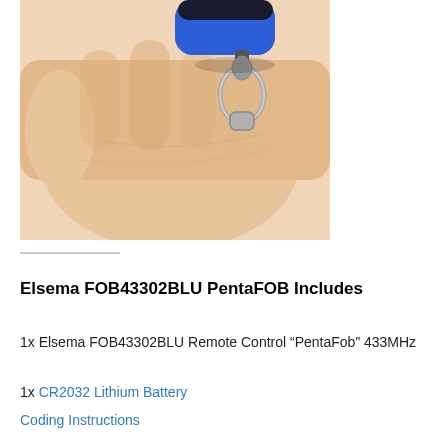[Figure (photo): A hand holding a blue key fob remote control with a silver metal clip/carabiner attached, photographed from above on a white background.]
Elsema FOB43302BLU PentaFOB Includes
1x Elsema FOB43302BLU Remote Control “PentaFob” 433MHz
1x CR2032 Lithium Battery
Coding Instructions